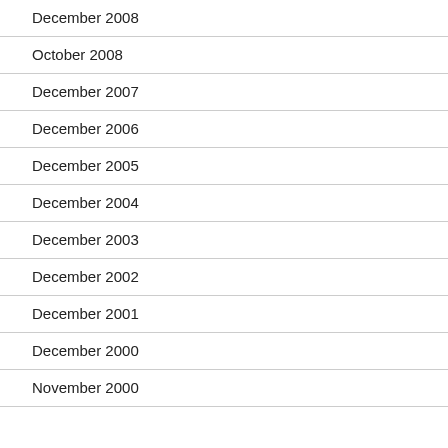December 2008
October 2008
December 2007
December 2006
December 2005
December 2004
December 2003
December 2002
December 2001
December 2000
November 2000